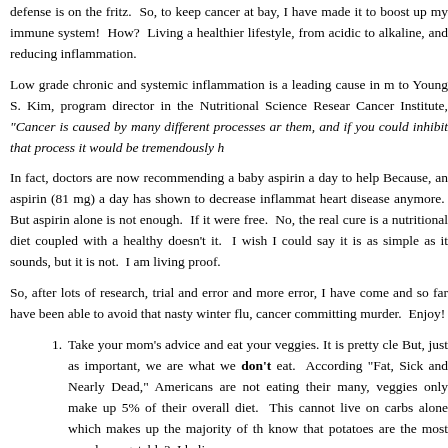defense is on the fritz.  So, to keep cancer at bay, I have made it to boost up my immune system!  How?  Living a healthier lifestyle, from acidic to alkaline, and reducing inflammation.
Low grade chronic and systemic inflammation is a leading cause in m to Young S. Kim, program director in the Nutritional Science Resear Cancer Institute, "Cancer is caused by many different processes ar them, and if you could inhibit that process it would be tremendously h
In fact, doctors are now recommending a baby aspirin a day to help Because, an aspirin (81 mg) a day has shown to decrease inflammat heart disease anymore.  But aspirin alone is not enough.  If it were free.  No, the real cure is a nutritional diet coupled with a healthy doesn't it.  I wish I could say it is as simple as it sounds, but it is not. I am living proof.
So, after lots of research, trial and error and more error, I have come and so far have been able to avoid that nasty winter flu, cancer committing murder.  Enjoy!
Take your mom's advice and eat your veggies. It is pretty cle But, just as important, we are what we don't eat.  According "Fat, Sick and Nearly Dead," Americans are not eating their many, veggies only make up 5% of their overall diet.  This cannot live on carbs alone which makes up the majority of th know that potatoes are the most popular vegetable?  I beli